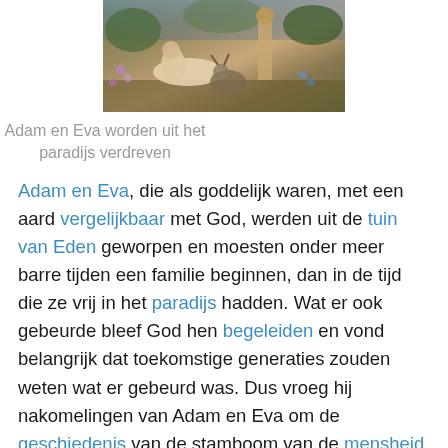[Figure (illustration): Painting of Adam and Eva being expelled from paradise, showing classical figures in a garden setting]
Adam en Eva worden uit het paradijs verdreven
Adam en Eva, die als goddelijk waren, met een aard vergelijkbaar met God, werden uit de tuin van Eden geworpen en moesten onder meer barre tijden een familie beginnen, dan in de tijd die ze vrij in het paradijs hadden. Wat er ook gebeurde bleef God hen begeleiden en vond belangrijk dat toekomstige generaties zouden weten wat er gebeurd was. Dus vroeg hij nakomelingen van Adam en Eva om de geschiedenis van de stamboom van de mensheid op te schrijven. De woorden die God gaf aan zijn schepsels waren belangrijk voor hen om zo er bewust